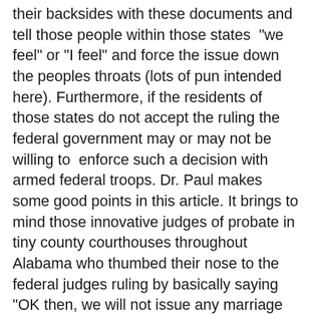their backsides with these documents and tell those people within those states  "we feel" or "I feel" and force the issue down the peoples throats (lots of pun intended here). Furthermore, if the residents of those states do not accept the ruling the federal government may or may not be willing to  enforce such a decision with armed federal troops. Dr. Paul makes some good points in this article. It brings to mind those innovative judges of probate in tiny county courthouses throughout Alabama who thumbed their nose to the federal judges ruling by basically saying "OK then, we will not issue any marriage license". As most people know, "there are more ways than one to skin a cat"! Click here to see the piece.
Jeffery
[Figure (photo): A small broken/loading image placeholder shown inside a bordered box in the lower right area of the page.]